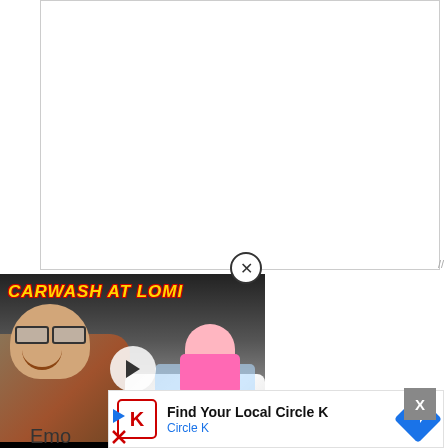[Figure (screenshot): White content/editor area with light gray border, partially visible]
[Figure (screenshot): Video thumbnail popup showing 'CARWASH AT LOMI' title in yellow italic text with two people eating and a car in background, with circular play button overlay and X close button]
[Figure (screenshot): Ad banner for Circle K: red bordered K logo, text 'Find Your Local Circle K' and 'Circle K' in blue, blue diamond arrow icon on right]
Emo
[Figure (screenshot): Small play and close (X) icons at bottom left of ad area]